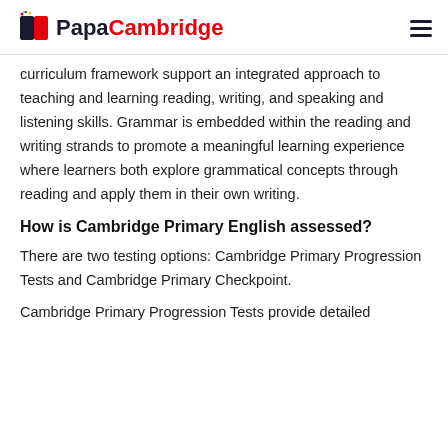PapaCambridge
curriculum framework support an integrated approach to teaching and learning reading, writing, and speaking and listening skills. Grammar is embedded within the reading and writing strands to promote a meaningful learning experience where learners both explore grammatical concepts through reading and apply them in their own writing.
How is Cambridge Primary English assessed?
There are two testing options: Cambridge Primary Progression Tests and Cambridge Primary Checkpoint.
Cambridge Primary Progression Tests provide detailed